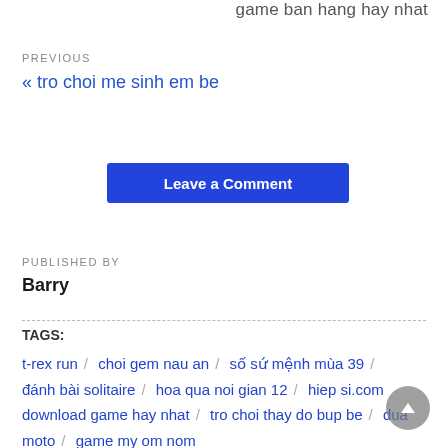game ban hang hay nhat
PREVIOUS
« tro choi me sinh em be
Leave a Comment
PUBLISHED BY
Barry
TAGS:
t-rex run / choi gem nau an / số sứ mệnh mùa 39 /
đánh bài solitaire / hoa qua noi gian 12 / hiep si.com
download game hay nhat / tro choi thay do bup be / dua
moto / game my om nom